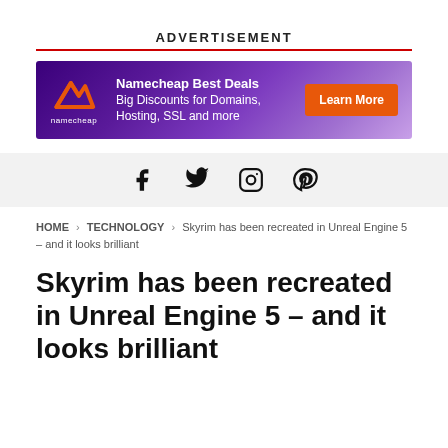ADVERTISEMENT
[Figure (illustration): Namecheap advertisement banner with purple gradient background, Namecheap logo on left, 'Namecheap Best Deals - Big Discounts for Domains, Hosting, SSL and more' text in center, and orange 'Learn More' button on right]
[Figure (infographic): Social media icons bar: Facebook, Twitter, Instagram, Pinterest on light gray background]
HOME > TECHNOLOGY > Skyrim has been recreated in Unreal Engine 5 – and it looks brilliant
Skyrim has been recreated in Unreal Engine 5 – and it looks brilliant